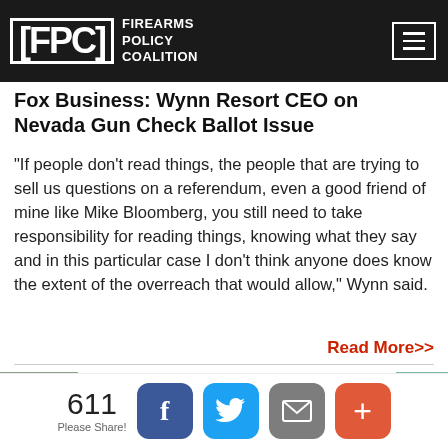FPC FIREARMS POLICY COALITION
Fox Business: Wynn Resort CEO on Nevada Gun Check Ballot Issue
“If people don’t read things, the people that are trying to sell us questions on a referendum, even a good friend of mine like Mike Bloomberg, you still need to take responsibility for reading things, knowing what they say and in this particular case I don’t think anyone does know the extent of the overreach that would allow,” Wynn said.
Read More>>
[Figure (photo): Partial photo showing a sign or banner reading FOR CHULA VISTA CITY COUNCIL]
611
Please Share!